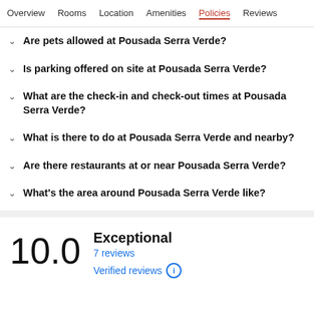Overview  Rooms  Location  Amenities  Policies  Reviews
Are pets allowed at Pousada Serra Verde?
Is parking offered on site at Pousada Serra Verde?
What are the check-in and check-out times at Pousada Serra Verde?
What is there to do at Pousada Serra Verde and nearby?
Are there restaurants at or near Pousada Serra Verde?
What's the area around Pousada Serra Verde like?
10.0  Exceptional  7 reviews  Verified reviews